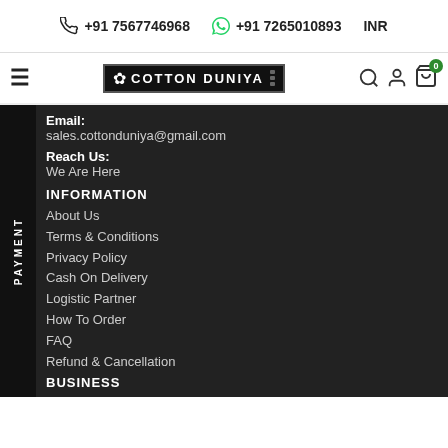+91 7567746968  +91 7265010893  INR
[Figure (logo): Cotton Duniya logo with lotus icon and film strip border, navigation icons including search, user, cart with 0 badge]
Email: sales.cottonduniya@gmail.com
Reach Us: We Are Here
INFORMATION
About Us
Terms & Conditions
Privacy Policy
Cash On Delivery
Logistic Partner
How To Order
FAQ
Refund & Cancellation
BUSINESS
International Buyer